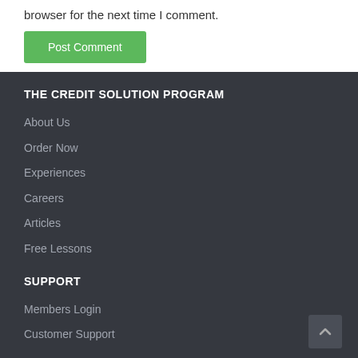browser for the next time I comment.
Post Comment
THE CREDIT SOLUTION PROGRAM
About Us
Order Now
Experiences
Careers
Articles
Free Lessons
SUPPORT
Members Login
Customer Support